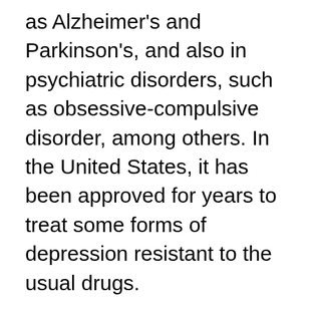as Alzheimer's and Parkinson's, and also in psychiatric disorders, such as obsessive-compulsive disorder, among others. In the United States, it has been approved for years to treat some forms of depression resistant to the usual drugs.
However, the work done by Voss's group is different from previous ones: "Other approaches focus on the prefrontal cortex, which is often recruited to compensate for memory loss in various disorders, including Alzheimer's disease. But the cortex itself is not part of the heart of the "memory network," which is the most